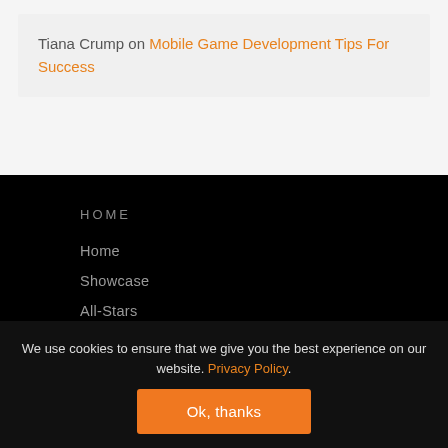Tiana Crump on Mobile Game Development Tips For Success
HOME
Home
Showcase
All-Stars
Buildbox Blog
We use cookies to ensure that we give you the best experience on our website. Privacy Policy.